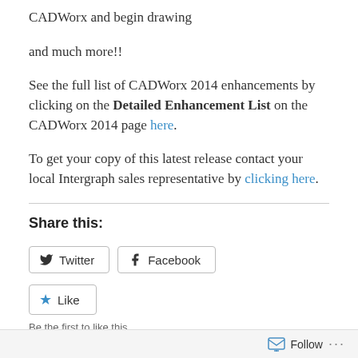CADWorx and begin drawing
and much more!!
See the full list of CADWorx 2014 enhancements by clicking on the Detailed Enhancement List on the CADWorx 2014 page here.
To get your copy of this latest release contact your local Intergraph sales representative by clicking here.
Share this:
Twitter  Facebook
Like
Be the first to like this.
Follow ...